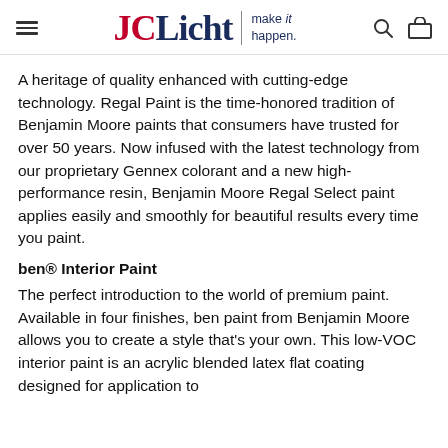JCLicht | make it happen.
A heritage of quality enhanced with cutting-edge technology. Regal Paint is the time-honored tradition of Benjamin Moore paints that consumers have trusted for over 50 years. Now infused with the latest technology from our proprietary Gennex colorant and a new high-performance resin, Benjamin Moore Regal Select paint applies easily and smoothly for beautiful results every time you paint.
ben® Interior Paint
The perfect introduction to the world of premium paint. Available in four finishes, ben paint from Benjamin Moore allows you to create a style that's your own. This low-VOC interior paint is an acrylic blended latex flat coating designed for application to